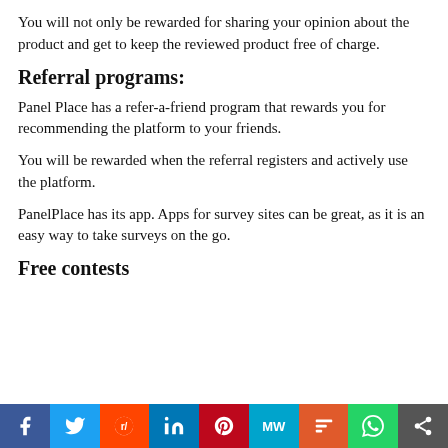You will not only be rewarded for sharing your opinion about the product and get to keep the reviewed product free of charge.
Referral programs:
Panel Place has a refer-a-friend program that rewards you for recommending the platform to your friends.
You will be rewarded when the referral registers and actively use the platform.
PanelPlace has its app. Apps for survey sites can be great, as it is an easy way to take surveys on the go.
Free contests
[Figure (other): Social sharing bar with icons for Facebook, Twitter, Reddit, LinkedIn, Pinterest, MeWe, Mix, WhatsApp, and a share button]